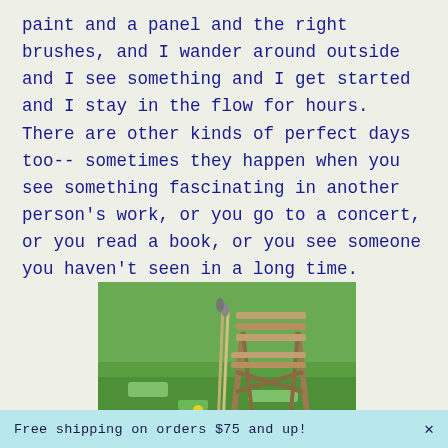paint and a panel and the right brushes, and I wander around outside and I see something and I get started and I stay in the flow for hours. There are other kinds of perfect days too-- sometimes they happen when you see something fascinating in another person's work, or you go to a concert, or you read a book, or you see someone you haven't seen in a long time.
[Figure (photo): Outdoor photo showing a weathered wooden folding chair on green grass, with what appears to be painting supplies leaning against it.]
Free shipping on orders $75 and up!   ×